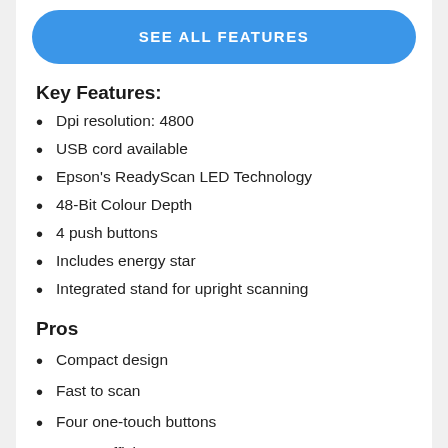[Figure (other): Blue rounded rectangle button with text SEE ALL FEATURES in white uppercase letters]
Key Features:
Dpi resolution: 4800
USB cord available
Epson's ReadyScan LED Technology
48-Bit Colour Depth
4 push buttons
Includes energy star
Integrated stand for upright scanning
Pros
Compact design
Fast to scan
Four one-touch buttons
Power efficient